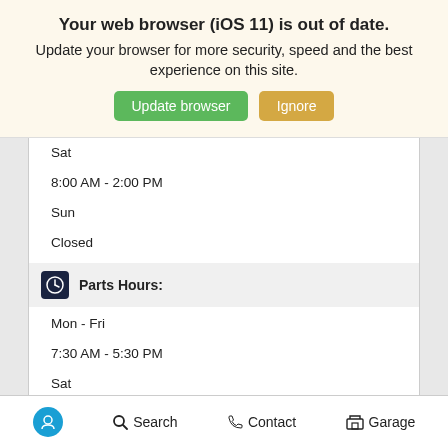Your web browser (iOS 11) is out of date.
Update your browser for more security, speed and the best experience on this site.
Update browser | Ignore
Sat
8:00 AM - 2:00 PM
Sun
Closed
Parts Hours:
Mon - Fri
7:30 AM - 5:30 PM
Sat
8:00 AM - 2:00 PM
Sun
Closed
Search | Contact | Garage